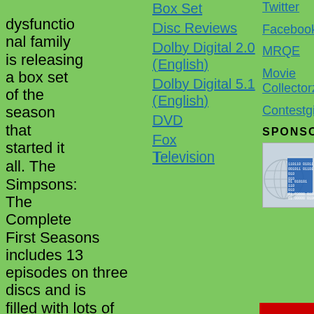dysfunctional family is releasing a box set of the season that started it all. The Simpsons: The Complete First Seasons includes 13 episodes on three discs and is filled with lots of goodies, including some never before seen footage of an episode creator Matt Groening wishes
Box Set
Disc Reviews
Dolby Digital 2.0 (English)
Dolby Digital 5.1 (English)
DVD
Fox Television
Twitter
Facebook
MRQE
Movie Collectorz
Contestgirl
SPONSORS
[Figure (logo): Sponsor logo with globe and binary code pattern]